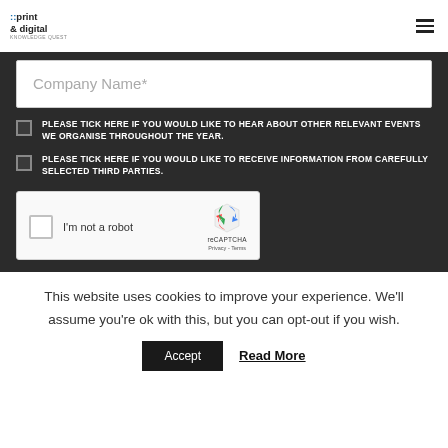::print & digital knowledge quest
Company Name*
PLEASE TICK HERE IF YOU WOULD LIKE TO HEAR ABOUT OTHER RELEVANT EVENTS WE ORGANISE THROUGHOUT THE YEAR.
PLEASE TICK HERE IF YOU WOULD LIKE TO RECEIVE INFORMATION FROM CAREFULLY SELECTED THIRD PARTIES.
[Figure (screenshot): reCAPTCHA widget showing checkbox labeled I'm not a robot with reCAPTCHA logo, Privacy and Terms links]
This website uses cookies to improve your experience. We'll assume you're ok with this, but you can opt-out if you wish.
Accept   Read More